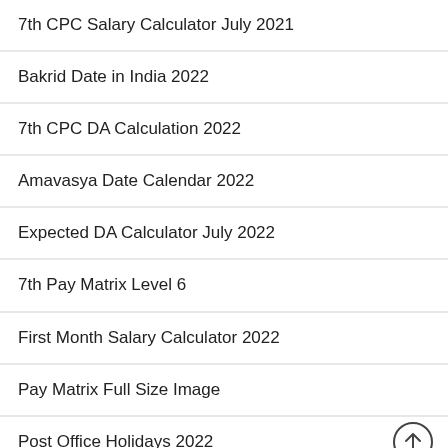7th CPC Salary Calculator July 2021
Bakrid Date in India 2022
7th CPC DA Calculation 2022
Amavasya Date Calendar 2022
Expected DA Calculator July 2022
7th Pay Matrix Level 6
First Month Salary Calculator 2022
Pay Matrix Full Size Image
Post Office Holidays 2022
HRA New Rates 2022